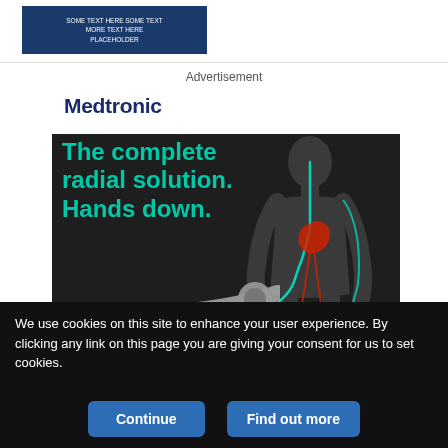[Figure (screenshot): Top navigation banner with dark blue background showing website header]
Advertisement
[Figure (illustration): Medtronic advertisement showing a human anatomy figure with cardiovascular system highlighted in teal/red on dark background, with catheter graphic, teal headline text 'The complete radial solution. Hands down.', Medtronic logo, Rist 079 Guide Catheter label, and a 'Learn more' button]
We use cookies on this site to enhance your user experience. By clicking any link on this page you are giving your consent for us to set cookies.